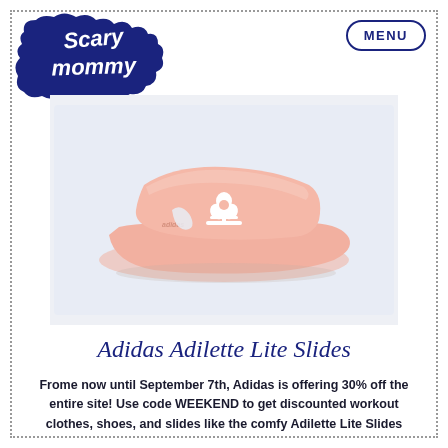[Figure (logo): Scary Mommy logo in dark navy blue with cloud/bubble lettering style]
MENU
[Figure (photo): Adidas Adilette Lite Slides in pink/peach color with white Adidas trefoil logo on the strap, displayed at an angle on a light blue-grey background]
Adidas Adilette Lite Slides
Frome now until September 7th, Adidas is offering 30% off the entire site! Use code WEEKEND to get discounted workout clothes, shoes, and slides like the comfy Adilette Lite Slides